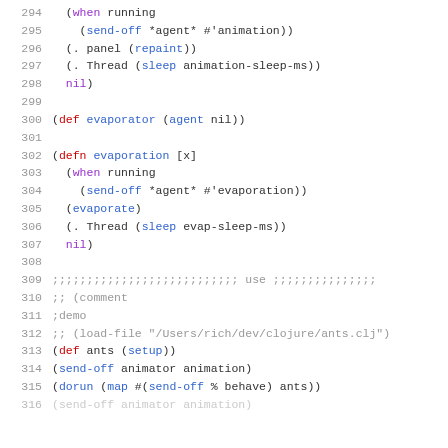[Figure (screenshot): Clojure source code listing with line numbers 294-315, showing animation and evaporation functions using def, defn, when, send-off, sleep, evaporate, dorun, map constructs.]